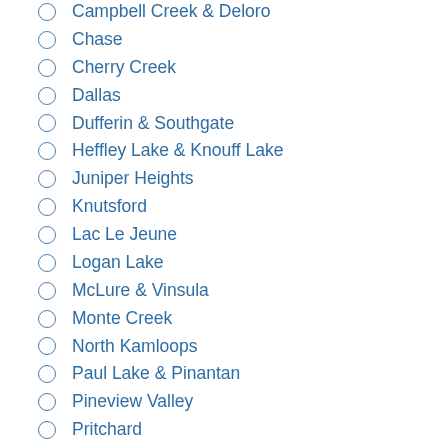Campbell Creek & Deloro
Chase
Cherry Creek
Dallas
Dufferin & Southgate
Heffley Lake & Knouff Lake
Juniper Heights
Knutsford
Lac Le Jeune
Logan Lake
McLure & Vinsula
Monte Creek
North Kamloops
Paul Lake & Pinantan
Pineview Valley
Pritchard
Rayleigh
Red Lake
Sahali
South Kamloops
South Thompson Valley